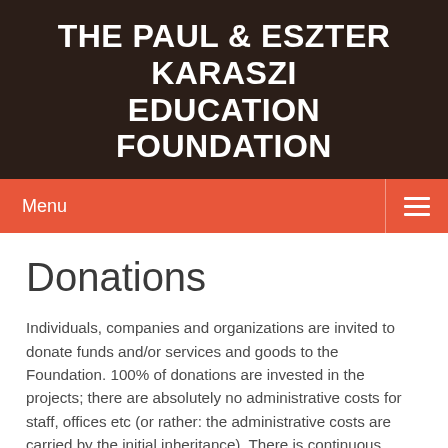THE PAUL & ESZTER KARASZI EDUCATION FOUNDATION
Menu
Donations
Individuals, companies and organizations are invited to donate funds and/or services and goods to the Foundation. 100% of donations are invested in the projects; there are absolutely no administrative costs for staff, offices etc (or rather: the administrative costs are carried by the initial inheritance). There is continuous feedback to donors in the forms of invoices, receipts, video/images of the projects and assurances by school principals. By working directly with the recipients (schools), the Foundation ensures no siphoning off of funds in the donation process, and no corruption.
Donations will be used for construction, maintenance and